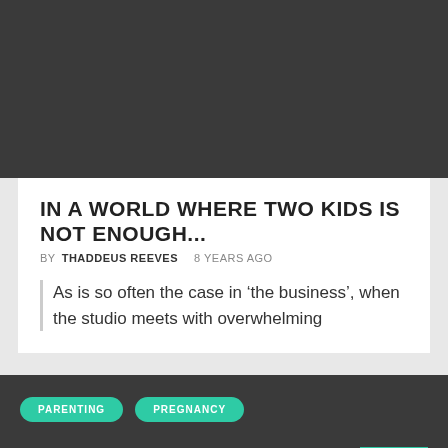[Figure (photo): Dark gray placeholder image block at the top of the page]
IN A WORLD WHERE TWO KIDS IS NOT ENOUGH...
BY THADDEUS REEVES    8 YEARS AGO
As is so often the case in ‘the business’, when the studio meets with overwhelming
PARENTING   PREGNANCY